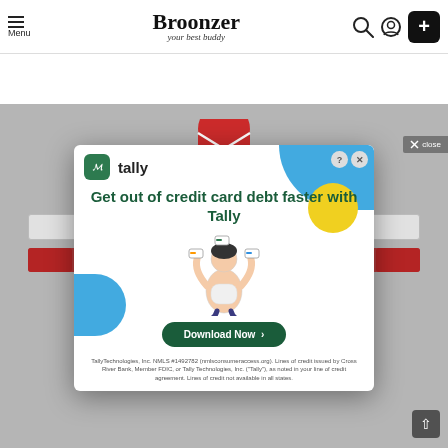Menu | Broonzer your best buddy
[Figure (screenshot): Broonzer website background showing a newsletter signup section partially obscured by a Tally ad overlay. The background shows a gray page with a title starting with 'W', subtitle text, an input field, and a red button.]
[Figure (infographic): Tally app advertisement overlay. Shows Tally logo, headline 'Get out of credit card debt faster with Tally', illustration of person juggling credit cards, Download Now button, and fine print disclaimer. Colored decorative blobs (blue, yellow) in corners.]
Get out of credit card debt faster with Tally
TallyTechnologies, Inc. NMLS #1492782 (nmlsconsumeraccess.org). Lines of credit issued by Cross River Bank, Member FDIC, or Tally Technologies, Inc. ("Tally"), as noted in your line of credit agreement. Lines of credit not available in all states.